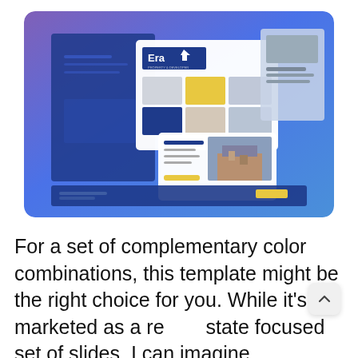[Figure (screenshot): Screenshot of the Era Property & Developing real estate presentation template showing multiple slide layouts with blue, yellow, and white color scheme. Features property images, blue backgrounds, and blocky design elements.]
For a set of complementary color combinations, this template might be the right choice for you. While it's marketed as a real estate focused set of slides, I can imagine working for so many purposes. Blocky designs